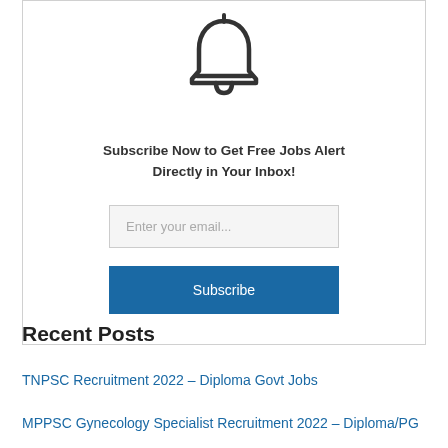[Figure (illustration): Bell icon/notification icon drawn in dark gray outline style]
Subscribe Now to Get Free Jobs Alert
Directly in Your Inbox!
Enter your email...
Subscribe
Recent Posts
TNPSC Recruitment 2022 – Diploma Govt Jobs
MPPSC Gynecology Specialist Recruitment 2022 – Diploma/PG